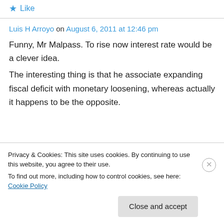Like
Luis H Arroyo on August 6, 2011 at 12:46 pm
Funny, Mr Malpass. To rise now interest rate would be a clever idea.
The interesting thing is that he associate expanding fiscal deficit with monetary loosening, whereas actually it happens to be the opposite.
Privacy & Cookies: This site uses cookies. By continuing to use this website, you agree to their use.
To find out more, including how to control cookies, see here: Cookie Policy
Close and accept